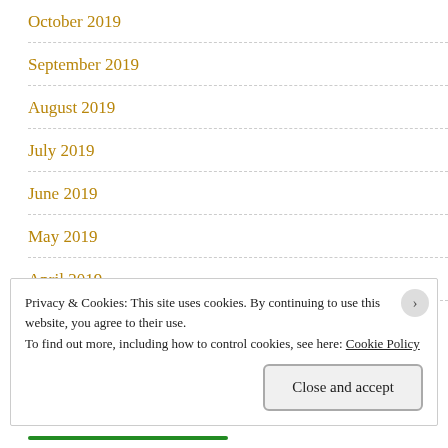October 2019
September 2019
August 2019
July 2019
June 2019
May 2019
April 2019
Privacy & Cookies: This site uses cookies. By continuing to use this website, you agree to their use.
To find out more, including how to control cookies, see here: Cookie Policy
Close and accept